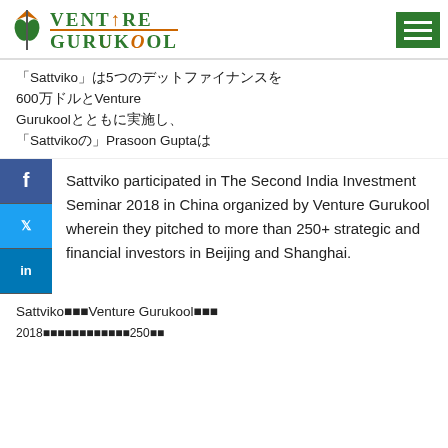Venture Gurukool logo and navigation
「Sattviko」は5つのデットファイナンスを600万ドルとVenture Gurukoolとともに実施し、「Sattvikoの」Prasoon Guptaは
Sattviko participated in The Second India Investment Seminar 2018 in China organized by Venture Gurukool wherein they pitched to more than 250+ strategic and financial investors in Beijing and Shanghai.
SattvikoはVenture Gurukoolの2018...